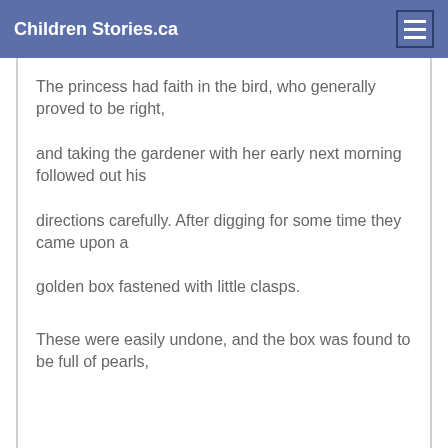Children Stories.ca
The princess had faith in the bird, who generally proved to be right,
and taking the gardener with her early next morning followed out his
directions carefully. After digging for some time they came upon a
golden box fastened with little clasps.
These were easily undone, and the box was found to be full of pearls,